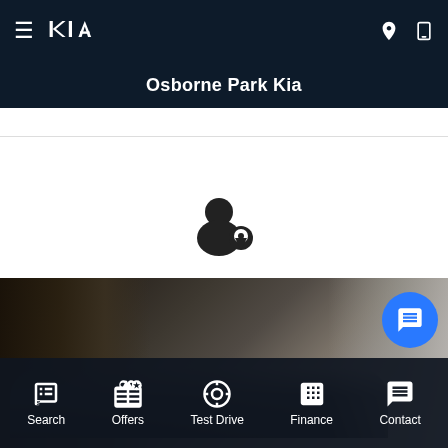Osborne Park Kia
[Figure (illustration): Person with location pin icon above BUILD text label]
> BUILD
[Figure (photo): Dark photo of a car in a showroom or garage setting]
Search  Offers  Test Drive  Finance  Contact